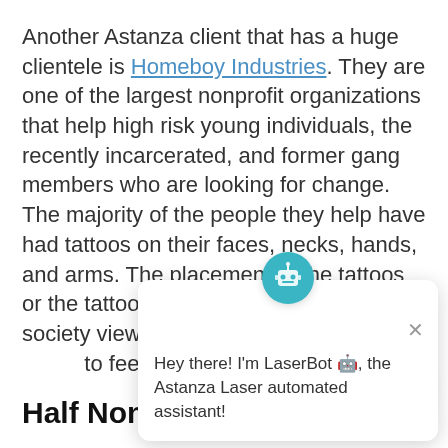Another Astanza client that has a huge clientele is Homeboy Industries. They are one of the largest nonprofit organizations that help high risk young individuals, the recently incarcerated, and former gang members who are looking for change. The majority of the people they help have had tattoos on their faces, necks, hands, and arms. The placement of the tattoos or the tattoos themselves can affect how society views these individuals and their ability to feel included in soci…
Half Non-Profit…
Providing laser tattoo removal can bring the best of both worlds! Another option for giving back to the community is to provide that service within your… nonprofit business…
[Figure (screenshot): Chat bot popup overlay showing LaserBot avatar and greeting: Hey there! I'm LaserBot, the Astanza Laser automated assistant!]